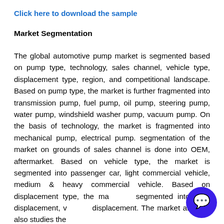Click here to download the sample
Market Segmentation
The global automotive pump market is segmented based on pump type, technology, sales channel, vehicle type, displacement type, region, and competitive landscape. Based on pump type, the market is further fragmented into transmission pump, fuel pump, oil pump, steering pump, water pump, windshield washer pump, vacuum pump. On the basis of technology, the market is fragmented into mechanical pump, electrical pump. segmentation of the market on grounds of sales channel is done into OEM, aftermarket. Based on vehicle type, the market is segmented into passenger car, light commercial vehicle, medium & heavy commercial vehicle. Based on displacement type, the market is segmented into fixed displacement, variable displacement. The market analysis also studies the
[Figure (other): Blue circular chat/support button with speech bubble icon in the bottom right corner]